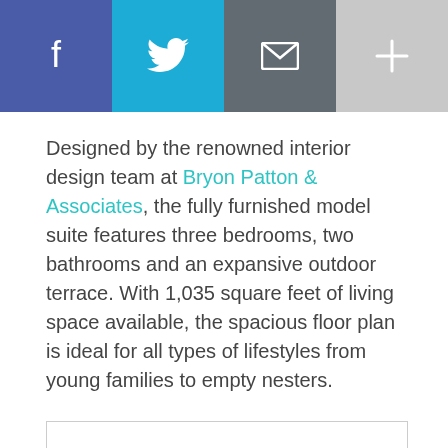[Figure (infographic): Social sharing bar with four buttons: Facebook (blue-purple), Twitter (cyan), Mail (dark gray), Plus/More (light gray), each with a white icon]
Designed by the renowned interior design team at Bryon Patton & Associates, the fully furnished model suite features three bedrooms, two bathrooms and an expansive outdoor terrace. With 1,035 square feet of living space available, the spacious floor plan is ideal for all types of lifestyles from young families to empty nesters.
[Figure (other): Empty white rectangle with a light gray border, representing a placeholder image or embedded content]